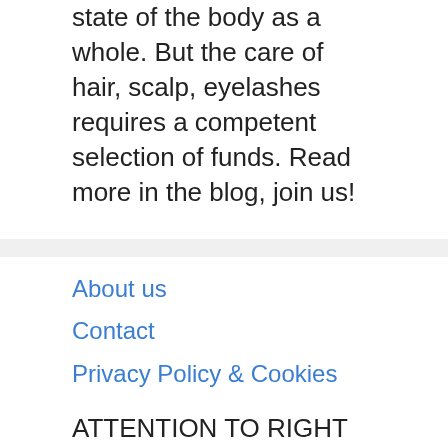state of the body as a whole. But the care of hair, scalp, eyelashes requires a competent selection of funds. Read more in the blog, join us!
About us
Contact
Privacy Policy & Cookies
ATTENTION TO RIGHT HOLDERS! All materials are posted on the site strictly for informational and educational purposes! If you believe that the posting of any material infringes your copyright, be sure to contact us through the contact form and your